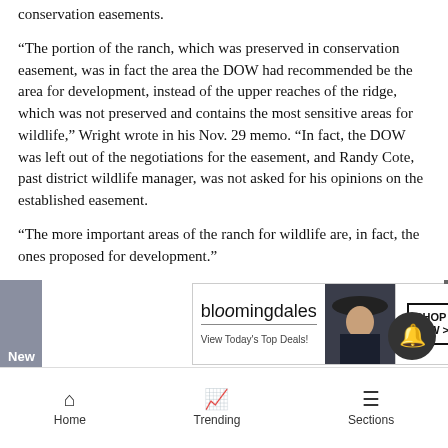conservation easements.
“The portion of the ranch, which was preserved in conservation easement, was in fact the area the DOW had recommended be the area for development, instead of the upper reaches of the ridge, which was not preserved and contains the most sensitive areas for wildlife,” Wright wrote in his Nov. 29 memo. “In fact, the DOW was left out of the negotiations for the easement, and Randy Cote, past district wildlife manager, was not asked for his opinions on the established easement.
“The more important areas of the ranch for wildlife are, in fact, the ones proposed for development.”
[Figure (screenshot): Bloomingdale's advertisement banner: 'bloomingdales / View Today’s Top Deals!' with photo of woman in hat and 'SHOP NOW >' button]
Home   Trending   Sections